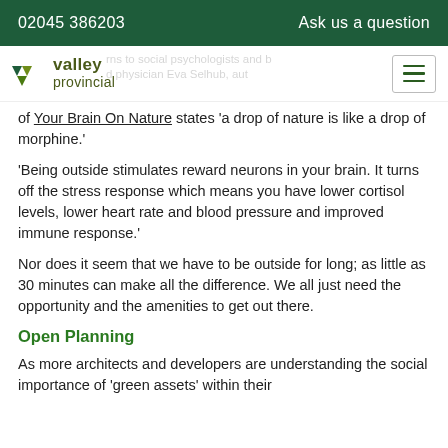02045 386203   Ask us a question
[Figure (logo): Valley Provincial logo with green chevron/arrow mark and text 'valley provincial']
of Your Brain On Nature states 'a drop of nature is like a drop of morphine.'
'Being outside stimulates reward neurons in your brain. It turns off the stress response which means you have lower cortisol levels, lower heart rate and blood pressure and improved immune response.'
Nor does it seem that we have to be outside for long; as little as 30 minutes can make all the difference. We all just need the opportunity and the amenities to get out there.
Open Planning
As more architects and developers are understanding the social importance of 'green assets' within their